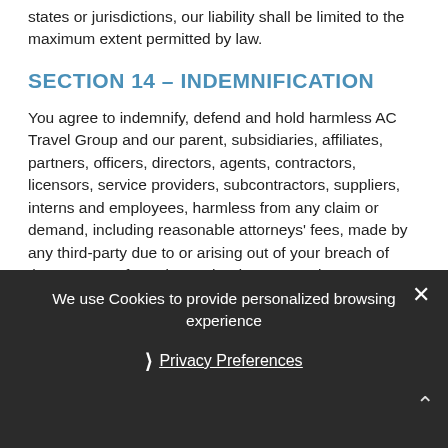states or jurisdictions, our liability shall be limited to the maximum extent permitted by law.
SECTION 14 – INDEMNIFICATION
You agree to indemnify, defend and hold harmless AC Travel Group and our parent, subsidiaries, affiliates, partners, officers, directors, agents, contractors, licensors, service providers, subcontractors, suppliers, interns and employees, harmless from any claim or demand, including reasonable attorneys' fees, made by any third-party due to or arising out of your breach of these Terms of Service or the documents they incorporate by reference, or your violation of any law or the rights of a third-party.
SECTION 15 – SEVERABILITY
In the event that any provision of these Terms of Service is deter…void or unenforceable, such provision shall nonetheless be
We use Cookies to provide personalized browsing experience
Privacy Preferences